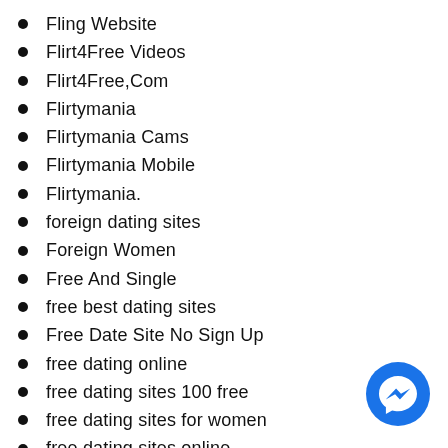Fling Website
Flirt4Free Videos
Flirt4Free,Com
Flirtymania
Flirtymania Cams
Flirtymania Mobile
Flirtymania.
foreign dating sites
Foreign Women
Free And Single
free best dating sites
Free Date Site No Sign Up
free dating online
free dating sites 100 free
free dating sites for women
free dating sites online
free dating sites that work
free dating web sites
[Figure (illustration): Facebook Messenger chat button icon, blue circle with white lightning bolt/messenger symbol]